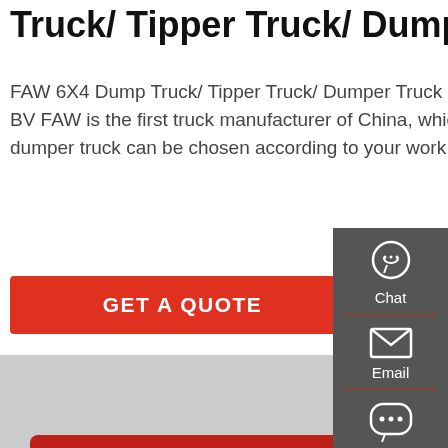Truck/ Tipper Truck/ Dumper
FAW 6X4 Dump Truck/ Tipper Truck/ Dumper Truck 18cbm Capacity Certificate: CCC, ISO, SGS, BV FAW is the first truck manufacturer of China, which starts from year 1956. Different capacity dumper truck can be chosen according to your work situation.
GET A QUOTE
[Figure (photo): Red FAW trucks parked in a lot, front view of a red cab-over truck with two more red trucks visible behind it]
[Figure (infographic): Sidebar with Chat, Email, and Contact icons on a dark grey background]